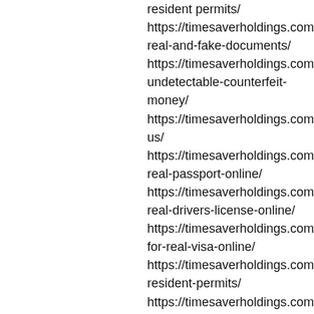resident permits/
https://timesaverholdings.com/buy-real-and-fake-documents/
https://timesaverholdings.com/100-undetectable-counterfeit-money/
https://timesaverholdings.com/contact-us/
https://timesaverholdings.com/buy-real-passport-online/
https://timesaverholdings.com/buy-real-drivers-license-online/
https://timesaverholdings.com/apply-for-real-visa-online/
https://timesaverholdings.com/buy-resident-permits/
https://timesaverholdings.com/buy-real-and-fake-documents/
https://timesaverholdings.com/100-undetectable-counterfeit-money/

Please also contact us for the following documents
Buy fake passport
Buy fake ID